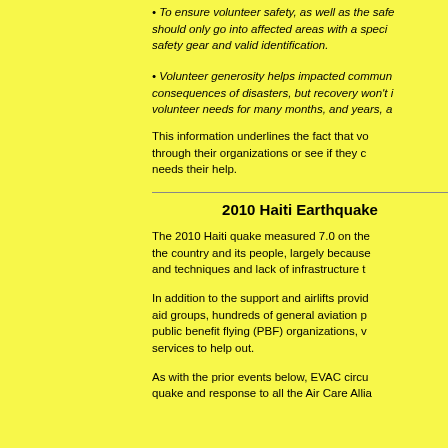To ensure volunteer safety, as well as the safety of others, volunteers should only go into affected areas with a specific assignment, appropriate safety gear and valid identification.
Volunteer generosity helps impacted communities deal with the worst consequences of disasters, but recovery won't happen overnight. There will be volunteer needs for many months, and years, after initial response.
This information underlines the fact that volunteers should work through their organizations or see if they can find an organization that needs their help.
2010 Haiti Earthquake
The 2010 Haiti quake measured 7.0 on the Richter scale and devastated the country and its people, largely because of poor construction materials and techniques and lack of infrastructure to respond.
In addition to the support and airlifts provided by governments and aid groups, hundreds of general aviation pilots, many affiliated with public benefit flying (PBF) organizations, volunteered their aircraft and services to help out.
As with the prior events below, EVAC circulated information on the quake and response to all the Air Care Alliance (ACA)